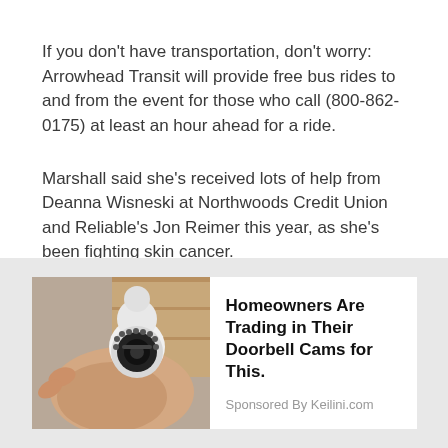If you don't have transportation, don't worry: Arrowhead Transit will provide free bus rides to and from the event for those who call (800-862-0175) at least an hour ahead for a ride.
Marshall said she's received lots of help from Deanna Wisneski at Northwoods Credit Union and Reliable's Jon Reimer this year, as she's been fighting skin cancer.
[Figure (photo): Advertisement showing a hand holding a small white security camera, next to text: 'Homeowners Are Trading in Their Doorbell Cams for This.' Sponsored By Keilini.com]